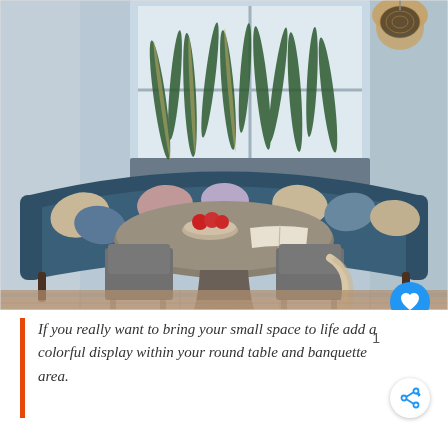[Figure (photo): Interior dining nook with a curved dark blue/teal upholstered banquette sofa, a round gray pedestal dining table with a bowl of red apples and an open book, two gray side chairs in front, decorative pillows, a hanging metallic pendant light, and tall snake plants in a planter at a window in the background. Hardwood flooring visible.]
If you really want to bring your small space to life add a colorful display within your round table and banquette area.